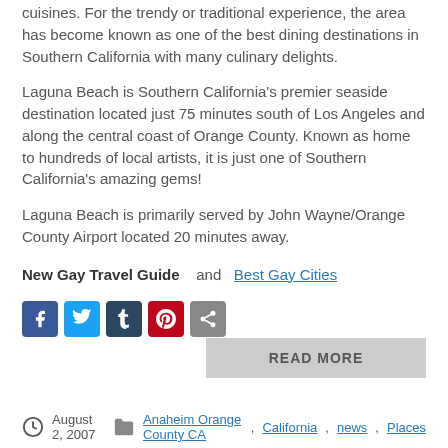cuisines. For the trendy or traditional experience, the area has become known as one of the best dining destinations in Southern California with many culinary delights.
Laguna Beach is Southern California's premier seaside destination located just 75 minutes south of Los Angeles and along the central coast of Orange County. Known as home to hundreds of local artists, it is just one of Southern California's amazing gems!
Laguna Beach is primarily served by John Wayne/Orange County Airport located 20 minutes away.
New Gay Travel Guide   and   Best Gay Cities
[Figure (other): Social media sharing icons: Facebook, Twitter, Tumblr, Pinterest, Share]
READ MORE
August 2, 2007   Anaheim Orange County CA, California, news, Places